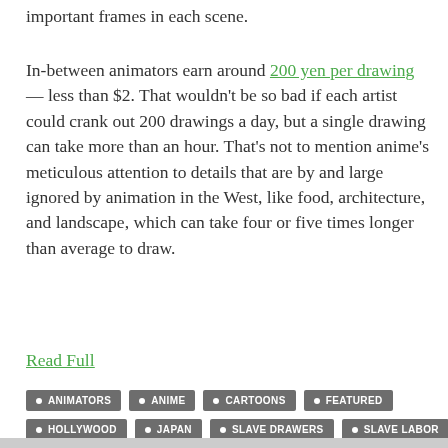important frames in each scene.
In-between animators earn around 200 yen per drawing — less than $2. That wouldn't be so bad if each artist could crank out 200 drawings a day, but a single drawing can take more than an hour. That's not to mention anime's meticulous attention to details that are by and large ignored by animation in the West, like food, architecture, and landscape, which can take four or five times longer than average to draw.
Read Full
ANIMATORS
ANIME
CARTOONS
FEATURED
HOLLYWOOD
JAPAN
SLAVE DRAWERS
SLAVE LABOR
SLAVES
TV SHOWS